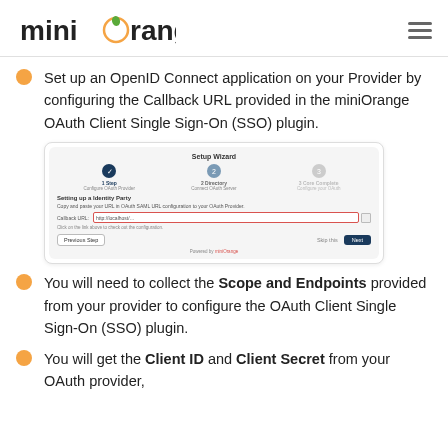miniOrange
Set up an OpenID Connect application on your Provider by configuring the Callback URL provided in the miniOrange OAuth Client Single Sign-On (SSO) plugin.
[Figure (screenshot): Setup Wizard screenshot showing the OAuth plugin configuration steps with a Callback URL field highlighted in red]
You will need to collect the Scope and Endpoints provided from your provider to configure the OAuth Client Single Sign-On (SSO) plugin.
You will get the Client ID and Client Secret from your OAuth provider,